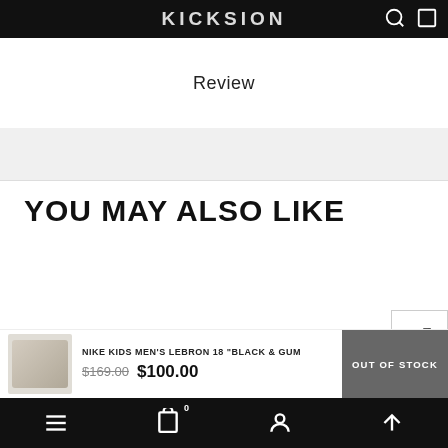KICKSION
Review
YOU MAY ALSO LIKE
-8%
SHARE
NIKE KIDS MEN'S LEBRON 18 "BLACK & GUM"
$169.00  $100.00
OUT OF STOCK
Bottom navigation bar